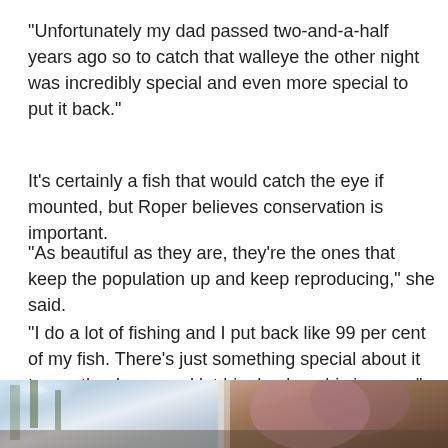"Unfortunately my dad passed two-and-a-half years ago so to catch that walleye the other night was incredibly special and even more special to put it back."
It's certainly a fish that would catch the eye if mounted, but Roper believes conservation is important.
"As beautiful as they are, they're the ones that keep the population up and keep reproducing," she said.
"I do a lot of fishing and I put back like 99 per cent of my fish. There's just something special about it to say thank you and let him back on his journey."
[Figure (photo): Partial photo strip at bottom of page showing an outdoor nature scene with trees and light, blurred/low resolution]